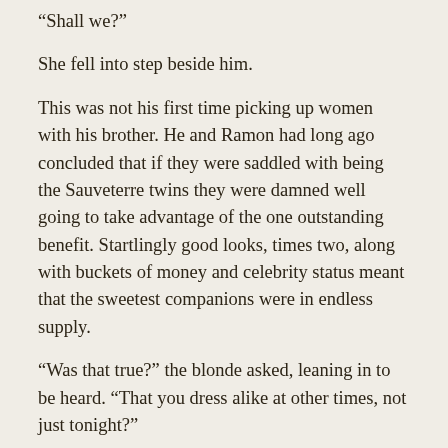“Shall we?”
She fell into step beside him.
This was not his first time picking up women with his brother. He and Ramon had long ago concluded that if they were saddled with being the Sauveterre twins they were damned well going to take advantage of the one outstanding benefit. Startlingly good looks, times two, along with buckets of money and celebrity status meant that the sweetest companions were in endless supply.
“Was that true?” the blonde asked, leaning in to be heard. “That you dress alike at other times, not just tonight?”
“Yes.” Henri hated talking about himself and loathed even more talking about his family, but this was on...